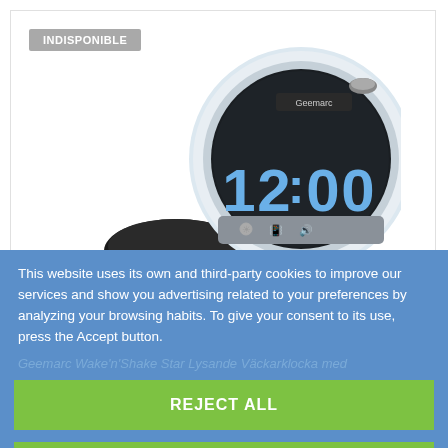[Figure (photo): Product photo of a Geemarc Wake'n'Shake Star alarm clock with LED display showing 12:00 and a black vibrating pad accessory connected by cable. Clock is white/silver with round shape.]
INDISPONIBLE
This website uses its own and third-party cookies to improve our services and show you advertising related to your preferences by analyzing your browsing habits. To give your consent to its use, press the Accept button.
Geemarc Wake'n'Shake Star Lysande Väckarklocka med
More information
Customize cookies
REJECT ALL
I ACCEPT